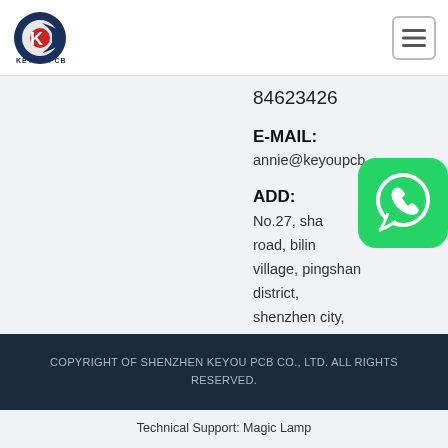[Figure (logo): KEYOU PCB logo — dark blue and red circular emblem with text KEYOU PCB below]
[Figure (other): Hamburger menu button (three horizontal lines) in a rounded rectangle border]
84623426
E-MAIL:
annie@keyoupcb
ADD:
No.27, sha... road, bilin... village, pingshan district, shenzhen city, guangdong province, China
[Figure (logo): WhatsApp icon — blue rounded square with white phone/chat bubble logo]
COPYRIGHT OF SHENZHEN KEYOU PCB CO., LTD. ALL RIGHTS RESERVED.
Technical Support: Magic Lamp